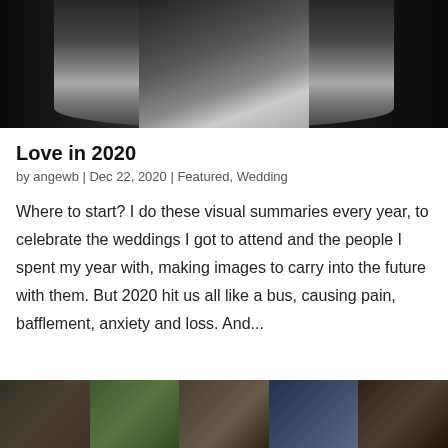[Figure (photo): Wedding couple photo, dark background with couple in center — top of page, partially cropped]
Love in 2020
by angewb | Dec 22, 2020 | Featured, Wedding
Where to start? I do these visual summaries every year, to celebrate the weddings I got to attend and the people I spent my year with, making images to carry into the future with them. But 2020 hit us all like a bus, causing pain, bafflement, anxiety and loss. And...
[Figure (photo): Row of five wedding photo thumbnails at the bottom of the page]